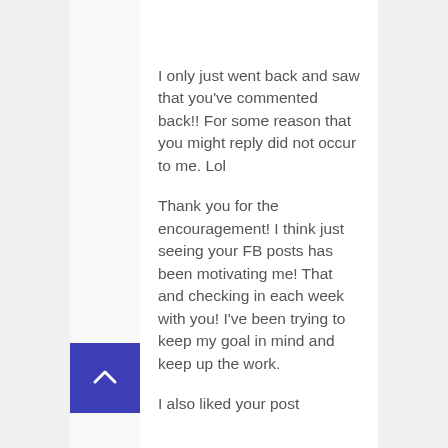I only just went back and saw that you've commented back!! For some reason that you might reply did not occur to me. Lol
Thank you for the encouragement! I think just seeing your FB posts has been motivating me! That and checking in each week with you! I've been trying to keep my goal in mind and keep up the work.
I also liked your post